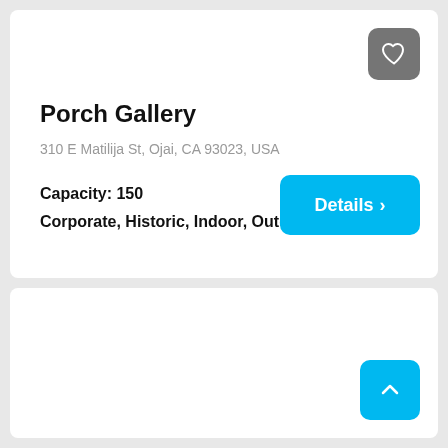Porch Gallery
310 E Matilija St, Ojai, CA 93023, USA
Capacity: 150
Corporate, Historic, Indoor, Outdoor